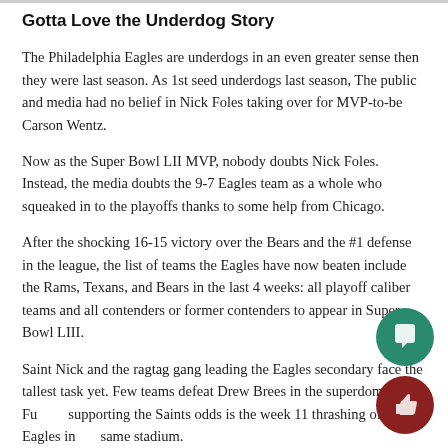Gotta Love the Underdog Story
The Philadelphia Eagles are underdogs in an even greater sense then they were last season. As 1st seed underdogs last season, The public and media had no belief in Nick Foles taking over for MVP-to-be Carson Wentz.
Now as the Super Bowl LII MVP, nobody doubts Nick Foles. Instead, the media doubts the 9-7 Eagles team as a whole who squeaked in to the playoffs thanks to some help from Chicago.
After the shocking 16-15 victory over the Bears and the #1 defense in the league, the list of teams the Eagles have now beaten include the Rams, Texans, and Bears in the last 4 weeks: all playoff caliber teams and all contenders or former contenders to appear in Super Bowl LIII.
Saint Nick and the ragtag gang leading the Eagles secondary face the tallest task yet. Few teams defeat Drew Brees in the superdome. Further supporting the Saints odds is the week 11 thrashing of the Eagles in the same stadium.